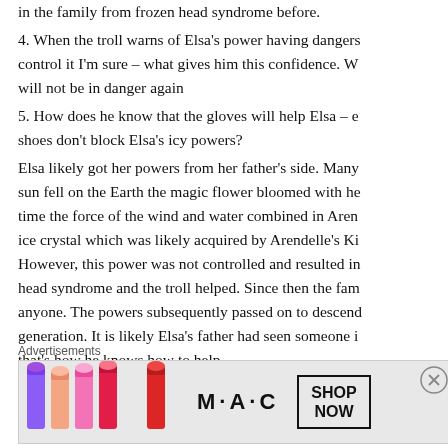in the family from frozen head syndrome before.
4. When the troll warns of Elsa's power having dangers, control it I'm sure – what gives him this confidence. W… will not be in danger again
5. How does he know that the gloves will help Elsa – e… shoes don't block Elsa's icy powers?
Elsa likely got her powers from her father's side. Many… sun fell on the Earth the magic flower bloomed with he… time the force of the wind and water combined in Aren… ice crystal which was likely acquired by Arendelle's Ki… However, this power was not controlled and resulted in… head syndrome and the troll helped. Since then the fam… anyone. The powers subsequently passed on to descend… generation. It is likely Elsa's father had seen someone i… that's how he knows how to help.
Advertisements
[Figure (illustration): MAC cosmetics advertisement showing lipsticks, MAC logo, and SHOP NOW button]